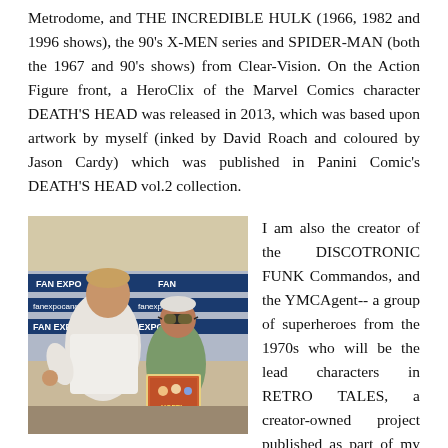Metrodome, and THE INCREDIBLE HULK (1966, 1982 and 1996 shows), the 90's X-MEN series and SPIDER-MAN (both the 1967 and 90's shows) from Clear-Vision. On the Action Figure front, a HeroClix of the Marvel Comics character DEATH'S HEAD was released in 2013, which was based upon artwork by myself (inked by David Roach and coloured by Jason Cardy) which was published in Panini Comic's DEATH'S HEAD vol.2 collection.
[Figure (photo): Two men posing together at FAN EXPO Canada convention. A tall man in a white shirt on the left and an older man in a green shirt wearing large sunglasses on the right, holding a comic book or print.]
I am also the creator of the DISCOTRONIC FUNK Commandos, and the YMCAgent-- a group of superheroes from the 1970s who will be the lead characters in RETRO TALES, a creator-owned project published as part of my own RETRO COMICS